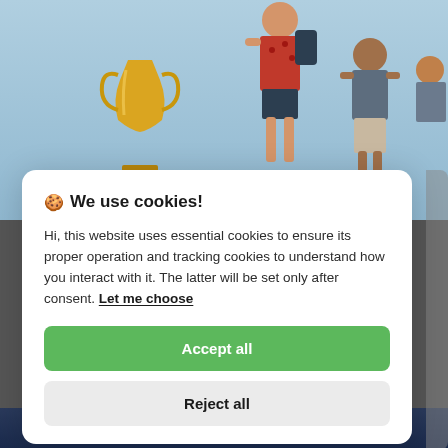[Figure (photo): Outdoor photo showing people standing against a light blue sky, with a gold trophy visible on the left side. Partially obscured by cookie consent modal overlay.]
🍪 We use cookies!
Hi, this website uses essential cookies to ensure its proper operation and tracking cookies to understand how you interact with it. The latter will be set only after consent. Let me choose
Accept all
Reject all